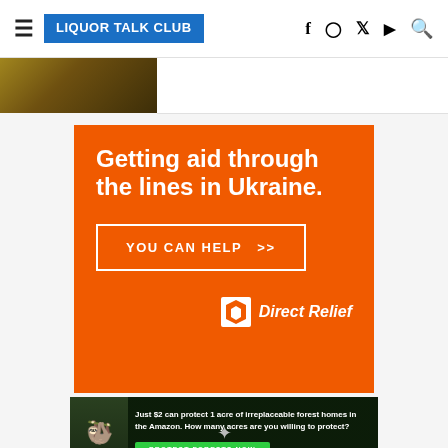LIQUOR TALK CLUB
[Figure (photo): Partial photo of food/drink item visible at top left below header]
[Figure (infographic): Orange Direct Relief advertisement: 'Getting aid through the lines in Ukraine. YOU CAN HELP >>']
[Figure (infographic): Forest conservation ad: 'Just $2 can protect 1 acre of irreplaceable forest homes in the Amazon. How many acres are you willing to protect? PROTECT FORESTS NOW']
Just $2 can protect 1 acre of irreplaceable forest homes in the Amazon. How many acres are you willing to protect?